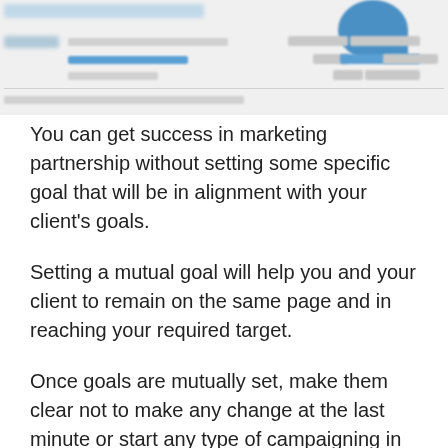[Figure (screenshot): Blurred/redacted screenshot of a web analytics or social media dashboard showing statistics and a partial pie or donut chart in the top-right corner.]
You can get success in marketing partnership without setting some specific goal that will be in alignment with your client’s goals.
Setting a mutual goal will help you and your client to remain on the same page and in reaching your required target.
Once goals are mutually set, make them clear not to make any change at the last minute or start any type of campaigning in the middle.
Or if any request is made by them for change in the